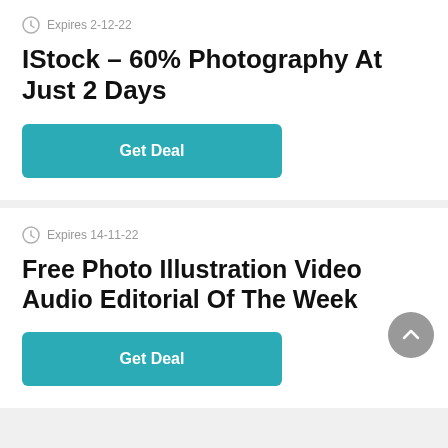Expires 2-12-22
IStock – 60% Photography At Just 2 Days
Get Deal
Expires 14-11-22
Free Photo Illustration Video Audio Editorial Of The Week
Get Deal